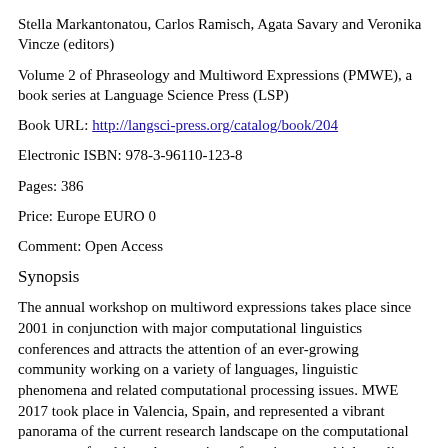Stella Markantonatou, Carlos Ramisch, Agata Savary and Veronika Vincze (editors)
Volume 2 of Phraseology and Multiword Expressions (PMWE), a book series at Language Science Press (LSP)
Book URL: http://langsci-press.org/catalog/book/204
Electronic ISBN: 978-3-96110-123-8
Pages: 386
Price: Europe EURO 0
Comment: Open Access
Synopsis
The annual workshop on multiword expressions takes place since 2001 in conjunction with major computational linguistics conferences and attracts the attention of an ever-growing community working on a variety of languages, linguistic phenomena and related computational processing issues. MWE 2017 took place in Valencia, Spain, and represented a vibrant panorama of the current research landscape on the computational treatment of multiword expressions, featuring many high-quality